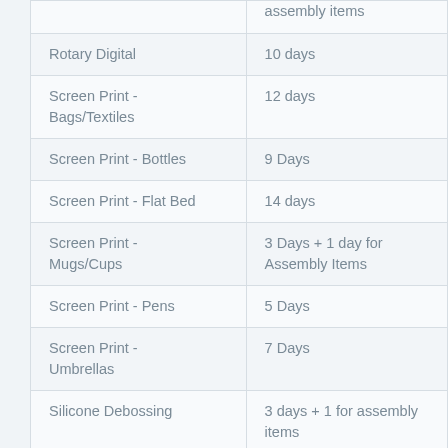|  | assembly items |
| Rotary Digital | 10 days |
| Screen Print - Bags/Textiles | 12 days |
| Screen Print - Bottles | 9 Days |
| Screen Print - Flat Bed | 14 days |
| Screen Print - Mugs/Cups | 3 Days + 1 day for Assembly Items |
| Screen Print - Pens | 5 Days |
| Screen Print - Umbrellas | 7 Days |
| Silicone Debossing | 3 days + 1 for assembly items |
| Silicone Digital Print | 9 Days + 1 day for assembly items |